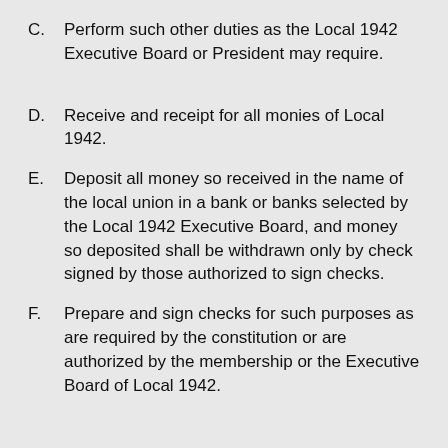C.    Perform such other duties as the Local 1942 Executive Board or President may require.
D.    Receive and receipt for all monies of Local 1942.
E.    Deposit all money so received in the name of the local union in a bank or banks selected by the Local 1942 Executive Board, and money so deposited shall be withdrawn only by check signed by those authorized to sign checks.
F.    Prepare and sign checks for such purposes as are required by the constitution or are authorized by the membership or the Executive Board of Local 1942.